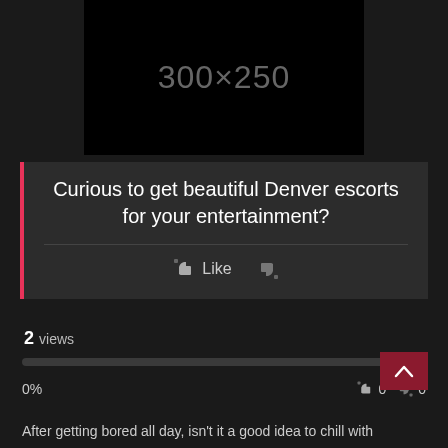[Figure (other): Ad banner placeholder showing '300x250' in gray text on black background]
Curious to get beautiful Denver escorts for your entertainment?
Like
2 views
0%
0   0
After getting bored all day, isn't it a good idea to chill with